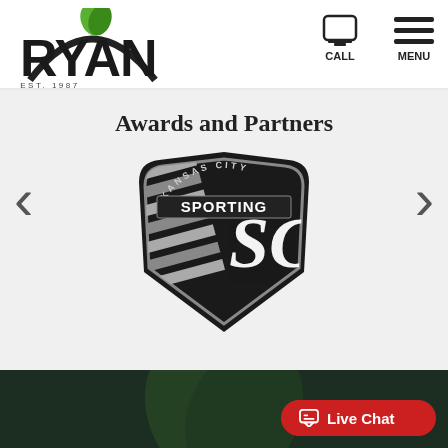[Figure (logo): Ryan Lawn and Tree company logo with green leaf and 'EST. 1987' text]
[Figure (logo): Phone/call icon with label CALL]
[Figure (logo): Hamburger menu icon with label MENU]
Awards and Partners
[Figure (logo): Sporting Kansas City soccer club shield logo with 'SC' script and diagonal stripes, surrounded by 'KANSAS CITY' arc text and 'SPORTING' banner]
[Figure (screenshot): Live Chat button in red rounded rectangle at bottom right of dark green footer area]